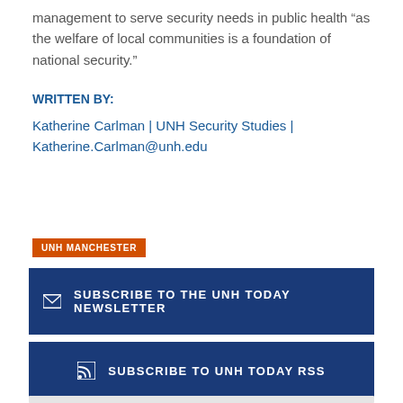management to serve security needs in public health “as the welfare of local communities is a foundation of national security.”
WRITTEN BY:
Katherine Carlman | UNH Security Studies | Katherine.Carlman@unh.edu
UNH MANCHESTER
SUBSCRIBE TO THE UNH TODAY NEWSLETTER
SUBSCRIBE TO UNH TODAY RSS